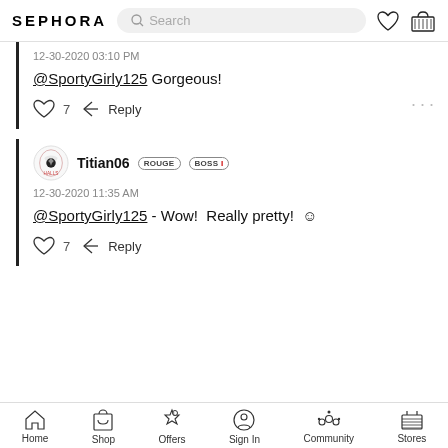SEPHORA
12-30-2020 03:10 PM
@SportyGirly125 Gorgeous!
7  Reply
Titian06  ROUGE  BOSS I
12-30-2020 11:35 AM
@SportyGirly125 - Wow!  Really pretty! 😊
7  Reply
Home  Shop  Offers  Sign In  Community  Stores